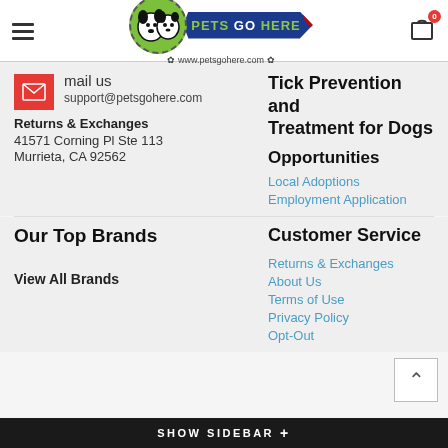Pets Go Here — www.petsgohere.com
mail us
support@petsgohere.com
Returns & Exchanges
41571 Corning Pl Ste 113
Murrieta, CA 92562
Tick Prevention and Treatment for Dogs
Opportunities
Local Adoptions
Employment Application
Our Top Brands
View All Brands
Customer Service
Returns & Exchanges
About Us
Terms of Use
Privacy Policy
Opt-Out
SHOW SIDEBAR +